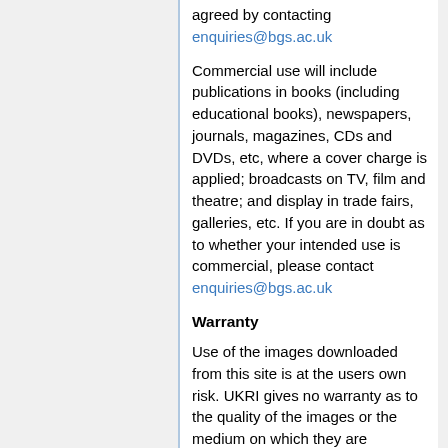agreed by contacting enquiries@bgs.ac.uk
Commercial use will include publications in books (including educational books), newspapers, journals, magazines, CDs and DVDs, etc, where a cover charge is applied; broadcasts on TV, film and theatre; and display in trade fairs, galleries, etc. If you are in doubt as to whether your intended use is commercial, please contact enquiries@bgs.ac.uk
Warranty
Use of the images downloaded from this site is at the users own risk. UKRI gives no warranty as to the quality of the images or the medium on which they are provided or their suitability for any use.